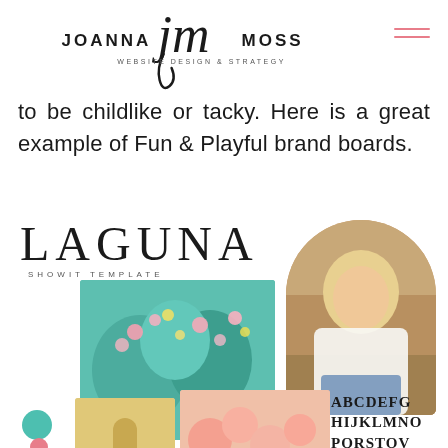JOANNA JM MOSS WEBSITE DESIGN & STRATEGY
to be childlike or tacky. Here is a great example of Fun & Playful brand boards.
[Figure (illustration): Laguna Showit Template brand board collage featuring cactus flowers photography, a woman portrait with arch frame, pink flowers, golden cactus, teal and pink color swatches, and alphabet typography sample reading ABCDEFG HIJKLMNO PQRSTOV]